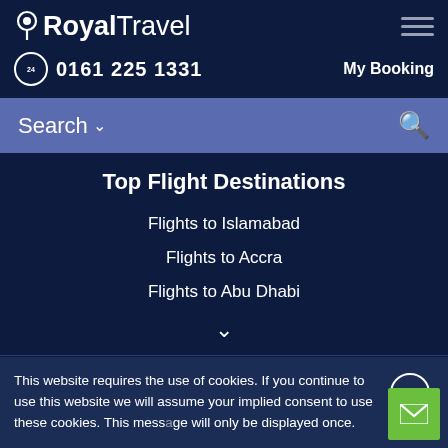Royal Travel
0161 225 1331
My Booking
Search
Top Flight Destinations
Flights to Islamabad
Flights to Accra
Flights to Abu Dhabi
Royal Travel News
City Breaks by Royal Travel
This website requires the use of cookies. If you continue to use this website we will assume your implied consent to use these cookies. This message will only be displayed once.